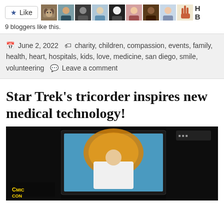[Figure (other): Like button with star icon and a row of blogger avatar photos, with a 'H' label at the end]
9 bloggers like this.
June 2, 2022  charity, children, compassion, events, family, health, heart, hospitals, kids, love, medicine, san diego, smile, volunteering  Leave a comment
Star Trek's tricorder inspires new medical technology!
[Figure (photo): Dark stage with a large screen showing a man in a white shirt seated, with Comic Con logo visible at bottom left]